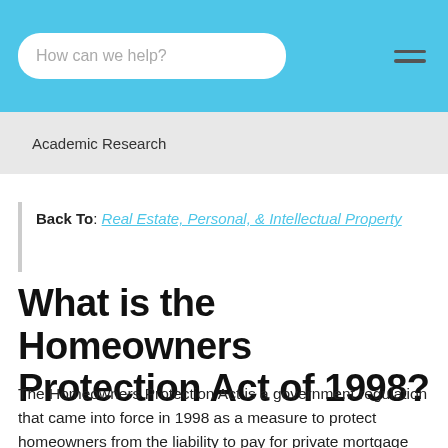How can we help?
Academic Research
Back To: Real Estate, Personal, & Intellectual Property
What is the Homeowners Protection Act of 1998?
The Homeowners Protection Act is a government regulation that came into force in 1998 as a measure to protect homeowners from the liability to pay for private mortgage insurance (PMI) when deemed unnecessary by law. The act also makes it obligatory for financiers to divulge to homeowners details about any PMI applicable